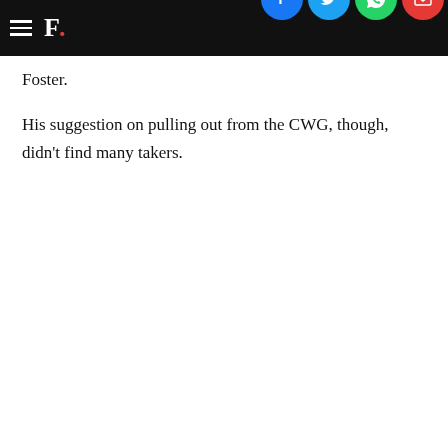F. [social share icons: Facebook, Twitter, WhatsApp, Email]
Foster.
His suggestion on pulling out from the CWG, though, didn't find many takers.